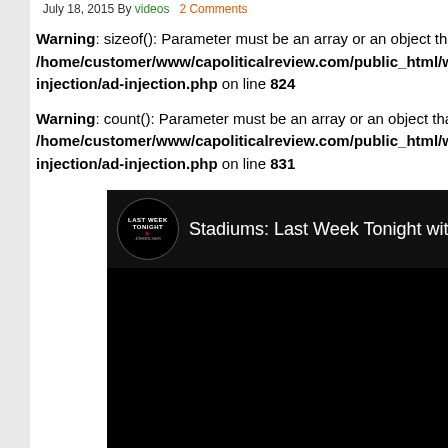July 18, 2015 By videos  2 Comments
Warning: sizeof(): Parameter must be an object that imp /home/customer/www/capoliticalreview.com/public_html/wp-co injection/ad-injection.php on line 824
Warning: count(): Parameter must be an array or an object that imp /home/customer/www/capoliticalreview.com/public_html/wp-co injection/ad-injection.php on line 831
[Figure (screenshot): YouTube video thumbnail showing 'Stadiums: Last Week Tonight with John Oliver' with Last Week Tonight logo on black background]